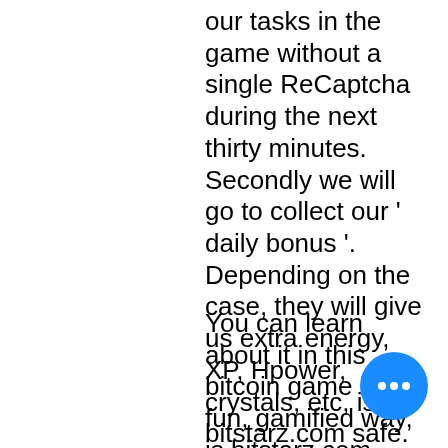our tasks in the game without a single ReCaptcha during the next thirty minutes. Secondly we will go to collect our ' daily bonus '. Depending on the case, they will give us extra energy, XP, Hpower, crystals, etc, is bitstarz.com safe. We go to the " mining room " and activate the mining process. Thanks to this, when we exit the game, we will continue to win cryptocurrencies without doing anything. Next, Get daily payout in your bitcoin wallet, is bitstarz.com safe.
You can learn about it in this bitcoin game in a fun, gamified way, is bitstarz.com safe. Bitcoin Flip is a bitcoin exchange simulator game that allows you to learn the basics of crypto trading and enjoy yourself at the same time. The free bitcoin simulator allows you to trade a variety of digital assets virtually including BCH, ETH, XML and many m... Bitcoin Flip offers real-time pricing, charts and the …